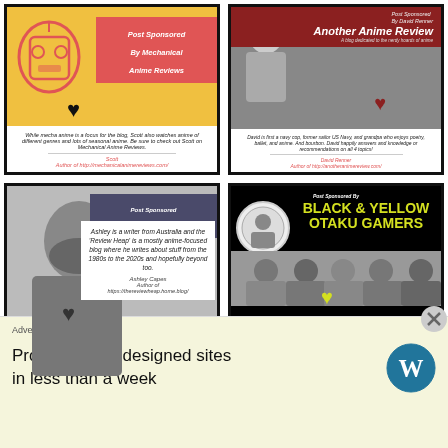[Figure (illustration): Card: Post Sponsored By Mechanical Anime Reviews. Yellow background with anime robot face icon, pink/red banner with italic text, heart icon, white text area with description and author link.]
[Figure (illustration): Card: Post Sponsored By David Renner - Another Anime Review. Gray background with dark red top banner showing title, anime girl figure, red heart icon, white text area with description and author link.]
[Figure (illustration): Card: Post Sponsored By Ashley Capes. Gray background with anime bearded man figure, dark blue-gray banner, white text box with description about Ashley being a writer from Australia, author name and link.]
[Figure (illustration): Card: Post Sponsored By Black & Yellow Otaku Gamers. Black background with circular logo, large yellow-green text title, group of people image, yellow heart, white text area with description and author links.]
[Figure (illustration): Partial card bottom row left: red strip with text, white area with radiating lines graphic.]
[Figure (illustration): Partial card bottom row right: light background with robot figure left, yellow-orange banner right with Post Sponsored text.]
Advertisements
Professionally designed sites in less than a week